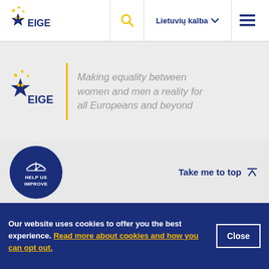[Figure (logo): EIGE logo with blue star and yellow EU stars in navigation bar]
Lietuvių kalba
[Figure (logo): EIGE logo in grey middle section]
Making equality between women and men a reality for all Europeans and beyond
[Figure (infographic): Dark blue circle with speedometer icon and text HELP US IMPROVE]
Take me to top ↑
Our website uses cookies to offer you the best experience. Read more about cookies and how you can opt out.